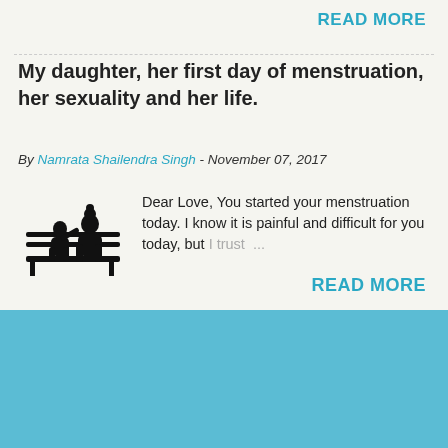READ MORE
My daughter, her first day of menstruation, her sexuality and her life.
By Namrata Shailendra Singh - November 07, 2017
[Figure (illustration): Silhouette of two people sitting on a bench, one appears to be an adult and the other a child, in black silhouette style.]
Dear Love, You started your menstruation today. I know it is painful and difficult for you today, but I trust ...
READ MORE
Powered by Blogger
Theme images by mammuth